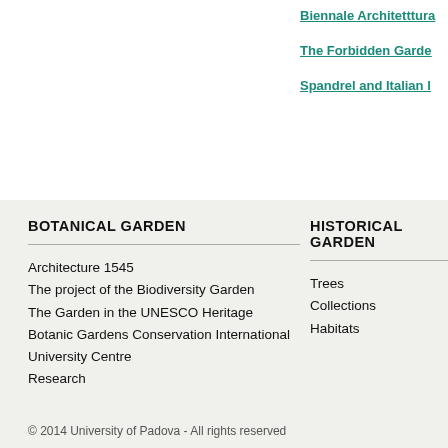Biennale Architettura
The Forbidden Garde
Spandrel and Italian l
BOTANICAL GARDEN
Architecture 1545
The project of the Biodiversity Garden
The Garden in the UNESCO Heritage
Botanic Gardens Conservation International
University Centre
Research
HISTORICAL GARDEN
Trees
Collections
Habitats
© 2014 University of Padova - All rights reserved